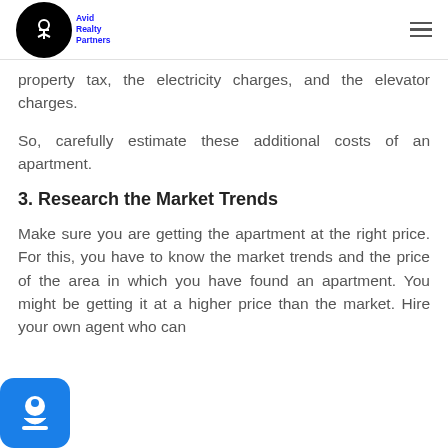Avid Realty Partners
property tax, the electricity charges, and the elevator charges.
So, carefully estimate these additional costs of an apartment.
3. Research the Market Trends
Make sure you are getting the apartment at the right price. For this, you have to know the market trends and the price of the area in which you have found an apartment. You might be getting it at a higher price than the market. Hire your own agent who can